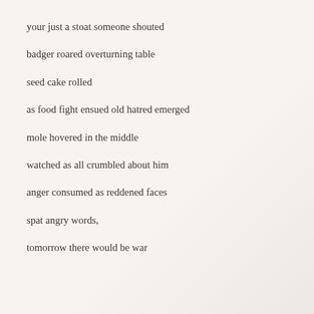your just a stoat someone shouted
badger roared overturning table
seed cake rolled
as food fight ensued old hatred emerged
mole hovered in the middle
watched as all crumbled about him
anger consumed as reddened faces
spat angry words,
tomorrow there would be war